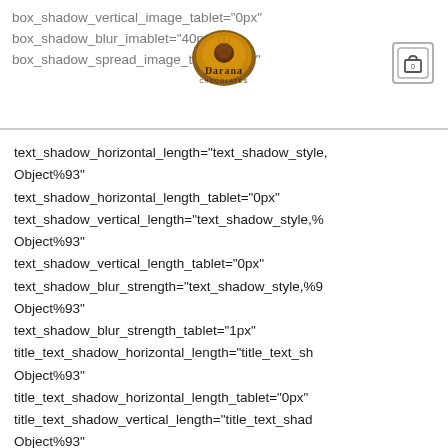box_shadow_vertical_image_tablet="0px" box_shadow_blur_image_tablet="40px" box_shadow_spread_image_tablet="0px"
[Figure (logo): Darana Chocolates logo - circular emblem with brown/gold coloring]
text_shadow_horizontal_length="text_shadow_style,%Object%93"
text_shadow_horizontal_length_tablet="0px"
text_shadow_vertical_length="text_shadow_style,%Object%93"
text_shadow_vertical_length_tablet="0px"
text_shadow_blur_strength="text_shadow_style,%91Object%93"
text_shadow_blur_strength_tablet="1px"
title_text_shadow_horizontal_length="title_text_shadow,%Object%93"
title_text_shadow_horizontal_length_tablet="0px"
title_text_shadow_vertical_length="title_text_shad Object%93"
title_text_shadow_vertical_length_tablet="0px"